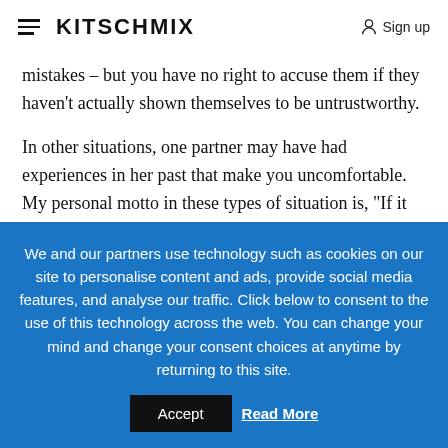KITSCHMIX | Sign up
mistakes – but you have no right to accuse them if they haven't actually shown themselves to be untrustworthy.
In other situations, one partner may have had experiences in her past that make you uncomfortable. My personal motto in these types of situation is, "If it was before my
We and our partners use technology such as cookies on our site to personalise content and ads, provide social media features, and analyse our traffic. Click below to consent to the use of this technology across the web. You can change your mind and change your consent choices at anytime by returning to this site.
Accept | Read More